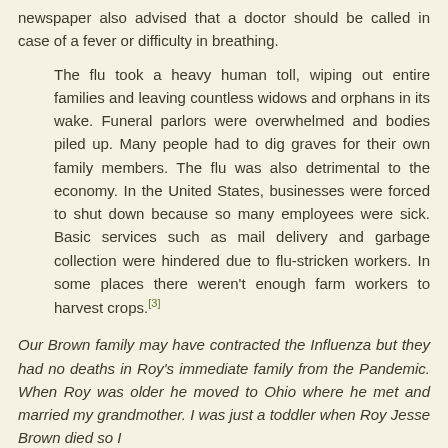newspaper also advised that a doctor should be called in case of a fever or difficulty in breathing.
The flu took a heavy human toll, wiping out entire families and leaving countless widows and orphans in its wake. Funeral parlors were overwhelmed and bodies piled up. Many people had to dig graves for their own family members. The flu was also detrimental to the economy. In the United States, businesses were forced to shut down because so many employees were sick. Basic services such as mail delivery and garbage collection were hindered due to flu-stricken workers. In some places there weren't enough farm workers to harvest crops.[3]
Our Brown family may have contracted the Influenza but they had no deaths in Roy's immediate family from the Pandemic. When Roy was older he moved to Ohio where he met and married my grandmother. I was just a toddler when Roy Jesse Brown died so I